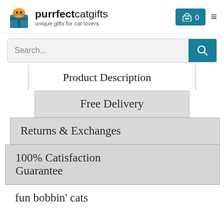[Figure (logo): purrfectcatgifts logo with cat icon and tagline 'unique gifts for cat lovers']
Search...
Product Description
Free Delivery
Returns & Exchanges
100% Catisfaction Guarantee
fun bobbin' cats